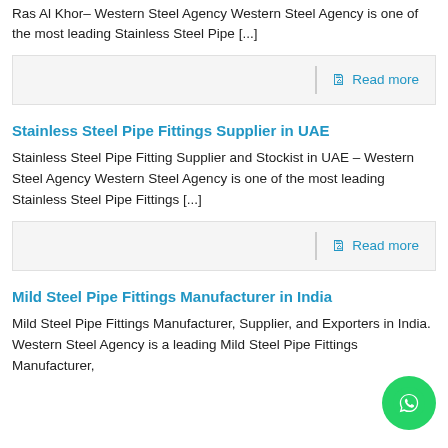Ras Al Khor– Western Steel Agency Western Steel Agency is one of the most leading Stainless Steel Pipe [...]
Read more
Stainless Steel Pipe Fittings Supplier in UAE
Stainless Steel Pipe Fitting Supplier and Stockist in UAE – Western Steel Agency Western Steel Agency is one of the most leading Stainless Steel Pipe Fittings [...]
Read more
Mild Steel Pipe Fittings Manufacturer in India
Mild Steel Pipe Fittings Manufacturer, Supplier, and Exporters in India. Western Steel Agency is a leading Mild Steel Pipe Fittings Manufacturer,